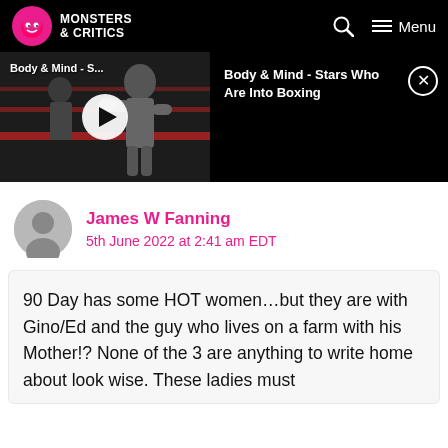Monsters & Critics
[Figure (screenshot): Video thumbnail showing boxing scene with play button overlay and label 'Body & Mind - S...' alongside video info panel 'Body & Mind - Stars Who Are Into Boxing']
James W Fanning
5th June 2022 at 2:41 am EDT
90 Day has some HOT women…but they are with Gino/Ed and the guy who lives on a farm with his Mother!? None of the 3 are anything to write home about look wise. These ladies must